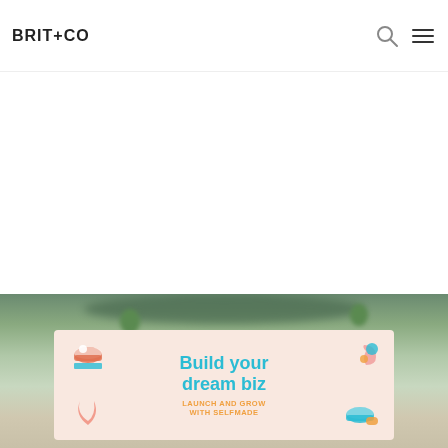BRIT+CO
[Figure (photo): Blurred food photograph showing a dish with green garnishes, seen from above, used as article hero image background]
[Figure (infographic): Advertisement banner with peach/salmon background. Text reads 'Build your dream biz' in teal bold font, 'LAUNCH AND GROW WITH SELFMADE' in orange uppercase font. Decorative geometric shapes on left and right sides.]